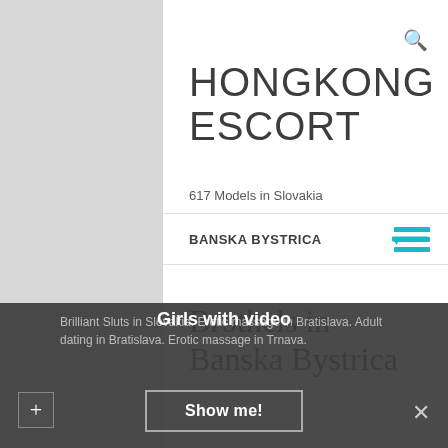HONGKONG ESCORT
617 Models in Slovakia
BANSKA BYSTRICA
Brothels in Banska Bystrica
Brilliant Sluts in Slovakia. Erotic massage in Bratislava. Adult dating in Bratislava. Erotic massage in Trnava.
Girls with video
Show me!